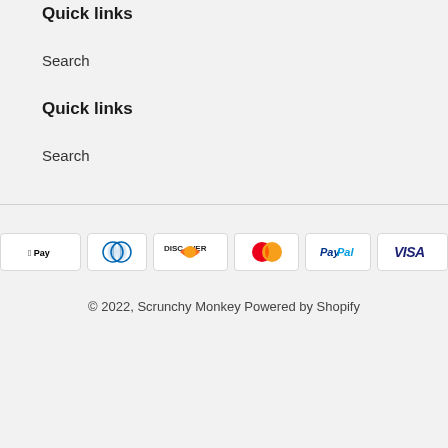Quick links
Search
Quick links
Search
[Figure (logo): Payment method icons: Apple Pay, Diners Club, Discover, Mastercard, PayPal, Visa]
© 2022, Scrunchy Monkey  Powered by Shopify